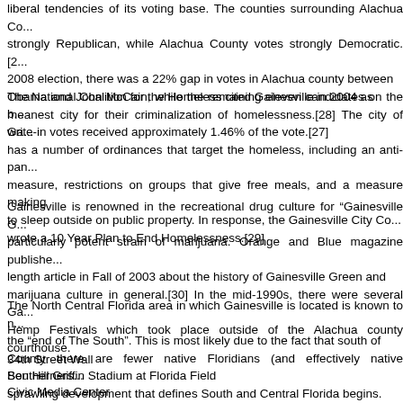liberal tendencies of its voting base. The counties surrounding Alachua County are strongly Republican, while Alachua County votes strongly Democratic.[2... 2008 election, there was a 22% gap in votes in Alachua county between Obama and John McCain, while the remaining eleven candidates on the ballot write-in votes received approximately 1.46% of the vote.[27]
The National Coalition for the Homeless cited Gainesville in 2004 as meanest city for their criminalization of homelessness.[28] The city of Ga... has a number of ordinances that target the homeless, including an anti-pan... measure, restrictions on groups that give free meals, and a measure making to sleep outside on public property. In response, the Gainesville City Co... wrote a 10 Year Plan to End Homelessness.[29]
Gainesville is renowned in the recreational drug culture for "Gainesville G... particularly potent strain of marijuana. Orange and Blue magazine publishe... length article in Fall of 2003 about the history of Gainesville Green and marijuana culture in general.[30] In the mid-1990s, there were several Ga... Hemp Festivals which took place outside of the Alachua county courthouse.
The North Central Florida area in which Gainesville is located is known to n... the "end of The South". This is most likely due to the fact that south of County there are fewer native Floridians (and effectively native Southerners... sprawling development that defines South and Central Florida begins.
34th Street Wall
Ben Hill Griffin Stadium at Florida Field
Civic Media Center
The Devil's Millhopper